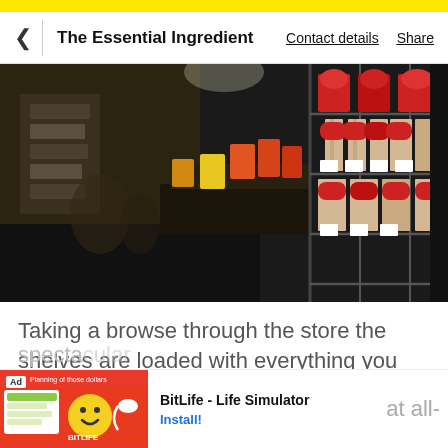< The Essential Ingredient   Contact details   Share
[Figure (photo): Interior of a specialty food store showing shelves stocked with pasta, sauces, and cooking ingredients on metal wire shelving racks.]
Taking a browse through the store the shelves are loaded with everything you need to create the most spectacular flavour combinations at all-
[Figure (other): Advertisement banner for BitLife - Life Simulator app with red background, smiley face icon, and Install button.]